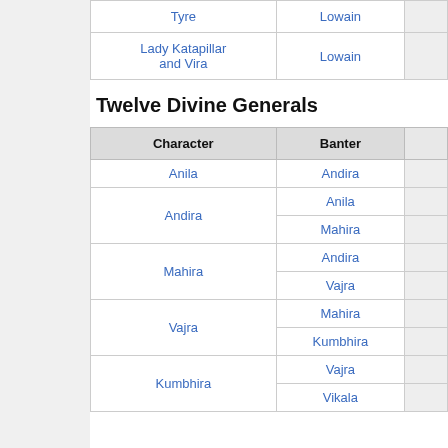| Character | Banter |  |
| --- | --- | --- |
| Tyre | Lowain |  |
| Lady Katapillar and Vira | Lowain |  |
Twelve Divine Generals
| Character | Banter |  |
| --- | --- | --- |
| Anila | Andira |  |
| Andira | Anila |  |
| Andira | Mahira |  |
| Mahira | Andira |  |
| Mahira | Vajra |  |
| Vajra | Mahira |  |
| Vajra | Kumbhira |  |
| Kumbhira | Vajra |  |
| Kumbhira | Vikala |  |